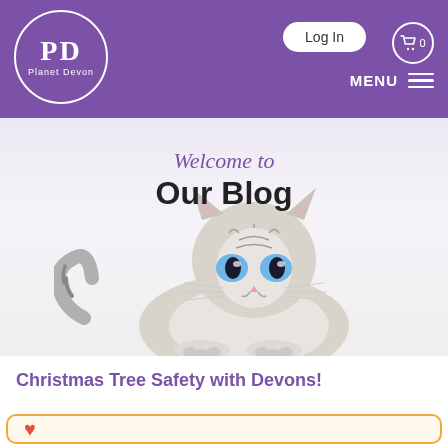PD Planet Devon — Log In — MENU
Welcome to
Our Blog
[Figure (photo): A Devon Rex cat with wide blue eyes lying down on a white background, looking upward. The cat has grey and white tabby markings.]
Christmas Tree Safety with Devons!
[Figure (illustration): Partial view of an orange/yellow banner at the bottom with a small red heart icon visible.]